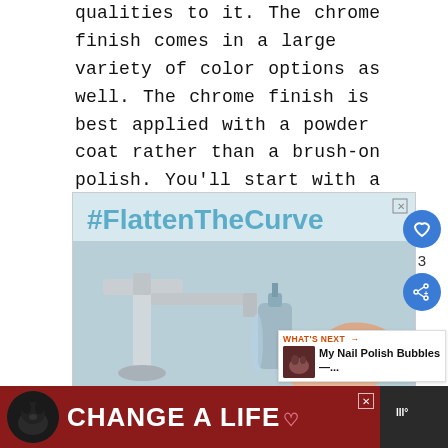qualities to it. The chrome finish comes in a large variety of color options as well. The chrome finish is best applied with a powder coat rather than a brush-on polish. You'll start with a base color before adding the powder to it.
[Figure (screenshot): Ad banner showing #FlattenTheCurve hashtag with a photo of a chrome faucet and person washing hands with soap.]
[Figure (screenshot): Bottom advertisement banner with a black dog image and text 'CHANGE A LIFE' on a dark red background.]